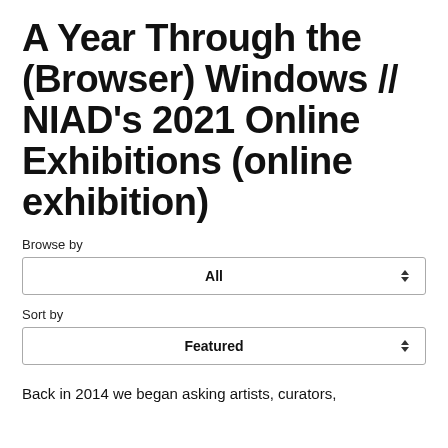A Year Through the (Browser) Windows // NIAD's 2021 Online Exhibitions (online exhibition)
Browse by
All
Sort by
Featured
Back in 2014 we began asking artists, curators,